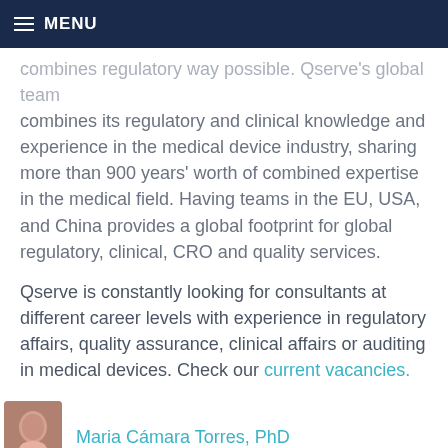MENU
...combines regulatory way possible. Qserve's global team combines its regulatory and clinical knowledge and experience in the medical device industry, sharing more than 900 years' worth of combined expertise in the medical field. Having teams in the EU, USA, and China provides a global footprint for global regulatory, clinical, CRO and quality services.
Qserve is constantly looking for consultants at different career levels with experience in regulatory affairs, quality assurance, clinical affairs or auditing in medical devices. Check our current vacancies.
Maria Cámara Torres, PhD